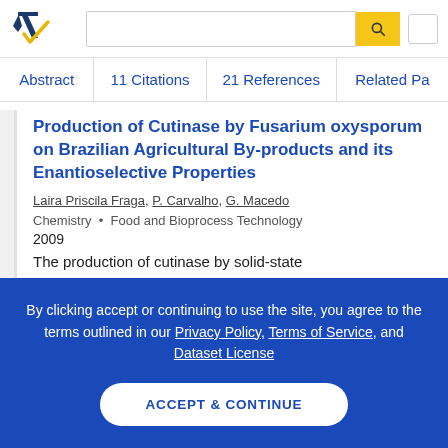[Figure (logo): Semantic Scholar logo - dark blue and gold checkmark/arrow icon]
Abstract  11 Citations  21 References  Related Pa
Production of Cutinase by Fusarium oxysporum on Brazilian Agricultural By-products and its Enantioselective Properties
Laira Priscila Fraga, P. Carvalho, G. Macedo
Chemistry • Food and Bioprocess Technology
2009
The production of cutinase by solid-state
By clicking accept or continuing to use the site, you agree to the terms outlined in our Privacy Policy, Terms of Service, and Dataset License
ACCEPT & CONTINUE